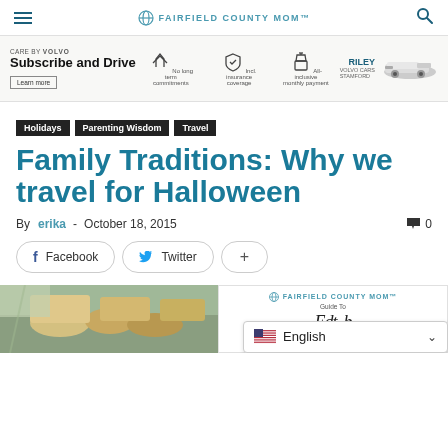FAIRFIELD COUNTY MOM
[Figure (other): Volvo Care Subscribe and Drive advertisement banner]
Holidays
Parenting Wisdom
Travel
Family Traditions: Why we travel for Halloween
By erika - October 18, 2015   0
Facebook  Twitter  +
[Figure (photo): Bottom strip: food/market photo on the left and Fairfield County Mom Guide card on the right with language selector]